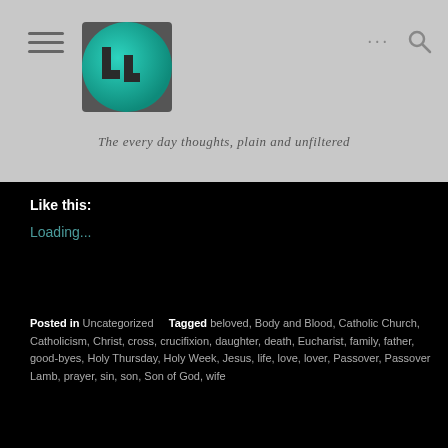[Figure (logo): Circular teal/green gradient logo with stylized 'LL' letters in dark gray on a dark square background]
The every day thoughts, plain and unfiltered
Like this:
Loading...
Posted in Uncategorized   Tagged beloved, Body and Blood, Catholic Church, Catholicism, Christ, cross, crucifixion, daughter, death, Eucharist, family, father, good-byes, Holy Thursday, Holy Week, Jesus, life, love, lover, Passover, Passover Lamb, prayer, sin, son, Son of God, wife